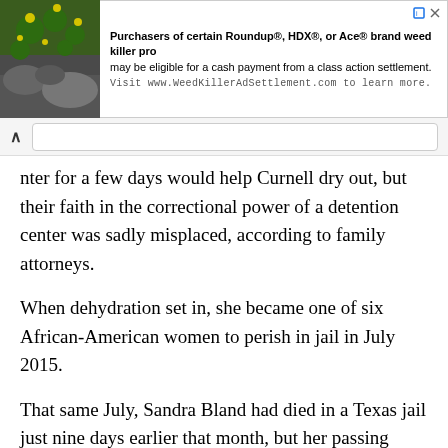[Figure (other): Advertisement banner with plant image on left and text about Roundup/HDX/Ace weed killer class action settlement on right]
nter for a few days would help Curnell dry out, but their faith in the correctional power of a detention center was sadly misplaced, according to family attorneys.
When dehydration set in, she became one of six African-American women to perish in jail in July 2015.
That same July, Sandra Bland had died in a Texas jail just nine days earlier that month, but her passing drew far more publicity because of the [__violent arrest video showing Texas Trooper Brian Encinia escalating a minor traffic stop__] (http://photographyisnotacrime.com/2015/07/16/texas-sheriff-tried-confiscating-camera-during-violent-arrest-